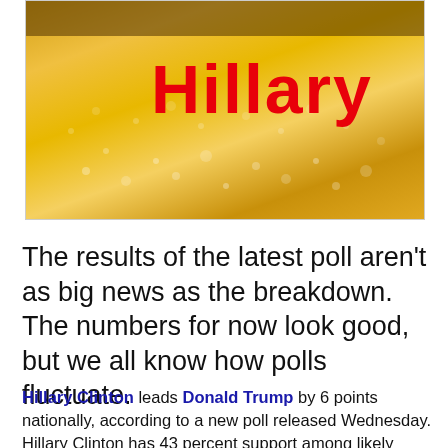[Figure (photo): Beer/beverage close-up image with bold red text 'Hillary' overlaid on a golden/amber liquid background]
The results of the latest poll aren't as big news as the breakdown. The numbers for now look good, but we all know how polls fluctuate.
Hillary Clinton leads Donald Trump by 6 points nationally, according to a new poll released Wednesday. Hillary Clinton has 43 percent support among likely voters, the NBC News/Wall Street Journal poll found. Donald Trump is at 37 percent.
This is more important: